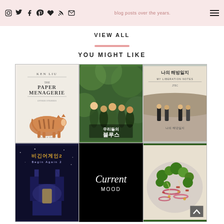blog posts over the years.
VIEW ALL
[Figure (other): Pink horizontal divider bar]
YOU MIGHT LIKE
[Figure (other): 3x2 grid of images: 1) The Paper Menagerie book cover by Ken Liu, 2) Korean drama poster (우리들의 블루스), 3) Korean drama poster (나의 해방일지), 4) Korean movie poster (비긴어게인2 Begin Again), 5) Black card with cursive 'Current Mood', 6) Broccoli salad photo]